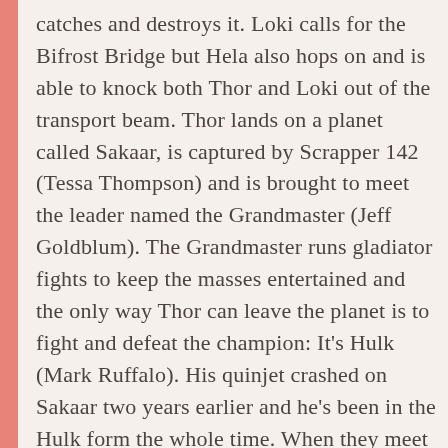catches and destroys it. Loki calls for the Bifrost Bridge but Hela also hops on and is able to knock both Thor and Loki out of the transport beam. Thor lands on a planet called Sakaar, is captured by Scrapper 142 (Tessa Thompson) and is brought to meet the leader named the Grandmaster (Jeff Goldblum). The Grandmaster runs gladiator fights to keep the masses entertained and the only way Thor can leave the planet is to fight and defeat the champion: It's Hulk (Mark Ruffalo). His quinjet crashed on Sakaar two years earlier and he's been in the Hulk form the whole time. When they meet in the arena the fight ends in a tie.